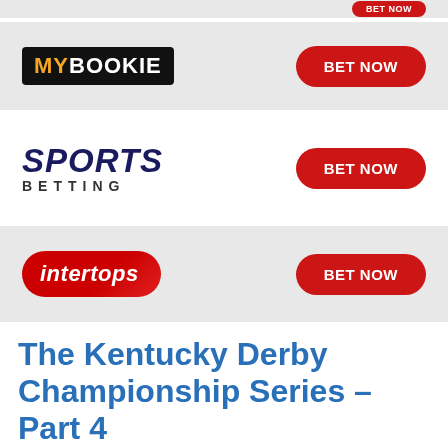[Figure (logo): MyBookie logo with BET NOW button (partial, top of page)]
[Figure (logo): MyBookie logo with BET NOW button on grey background]
[Figure (logo): SportsBetting logo with BET NOW button on white background]
[Figure (logo): Intertops logo with BET NOW button on grey background]
The Kentucky Derby Championship Series – Part 4
January 17, 2013
Once the Road to the Kentucky Derby has made its overseas visit to the United Arab Emirates, it heads stateside for the remaining few...